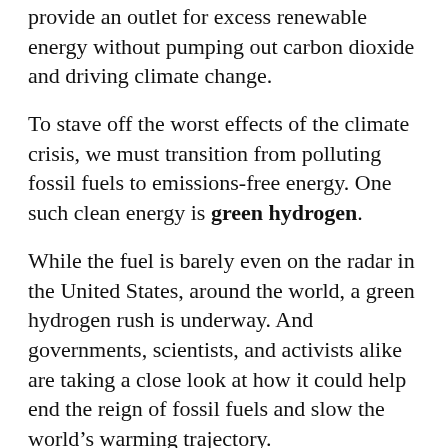provide an outlet for excess renewable energy without pumping out carbon dioxide and driving climate change.
To stave off the worst effects of the climate crisis, we must transition from polluting fossil fuels to emissions-free energy. One such clean energy is green hydrogen.
While the fuel is barely even on the radar in the United States, around the world, a green hydrogen rush is underway. And governments, scientists, and activists alike are taking a close look at how it could help end the reign of fossil fuels and slow the world’s warming trajectory.
But what exactly is green hydrogen, anyway?
What It Is and How It Is Made
Hydrogen is described as a “versatile energy